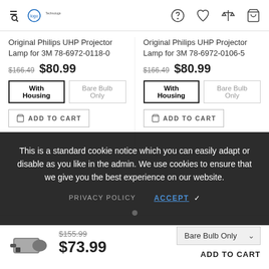Navigation header with logo and icons
Original Philips UHP Projector Lamp for 3M 78-6972-0118-0
$166.49 $80.99
With Housing | Bare Bulb Only
ADD TO CART
Original Philips UHP Projector Lamp for 3M 78-6972-0106-5
$166.49 $80.99
With Housing | Bare Bulb Only
ADD TO CART
This is a standard cookie notice which you can easily adapt or disable as you like in the admin. We use cookies to ensure that we give you the best experience on our website.
PRIVACY POLICY  ACCEPT ✓
$155.99 $73.99
Bare Bulb Only
ADD TO CART